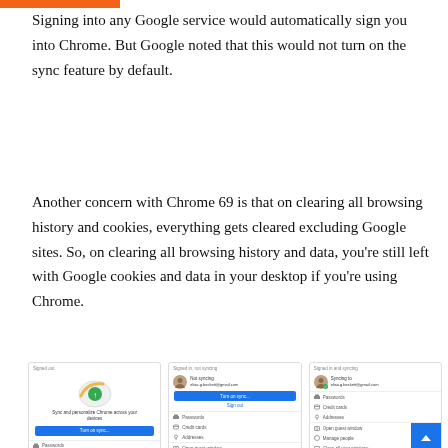Signing into any Google service would automatically sign you into Chrome. But Google noted that this would not turn on the sync feature by default.
Another concern with Chrome 69 is that on clearing all browsing history and cookies, everything gets cleared excluding Google sites. So, on clearing all browsing history and data, you're still left with Google cookies and data in your desktop if you're using Chrome.
[Figure (screenshot): Three screenshots of Chrome browser sign-in states: 'Signed out' showing sync option, 'Signed in, not syncing' with Turn on sync button and email, 'Signed in and syncing' with account details and menu items including Passwords, Credit cards, Addresses, Open guest window, Manage people, Close all your windows.]